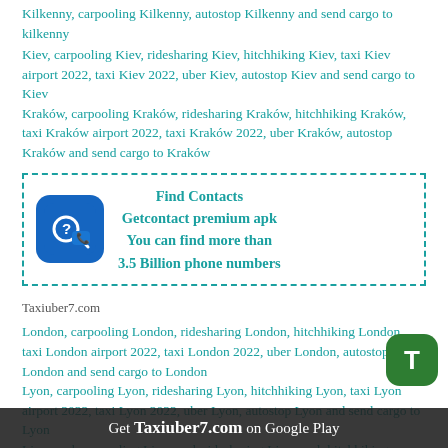Kilkenny, carpooling Kilkenny, autostop Kilkenny and send cargo to kilkenny
Kiev, carpooling Kiev, ridesharing Kiev, hitchhiking Kiev, taxi Kiev airport 2022, taxi Kiev 2022, uber Kiev, autostop Kiev and send cargo to Kiev
Kraków, carpooling Kraków, ridesharing Kraków, hitchhiking Kraków, taxi Kraków airport 2022, taxi Kraków 2022, uber Kraków, autostop Kraków and send cargo to Kraków
[Figure (infographic): Advertisement box with dashed teal border. Shows Getcontact app icon (blue rounded square with phone and question mark). Text: Find Contacts, Getcontact premium apk, You can find more than 3.5 Billion phone numbers]
Taxiuber7.com
London, carpooling London, ridesharing London, hitchhiking London, taxi London airport 2022, taxi London 2022, uber London, autostop London and send cargo to London
Lyon, carpooling Lyon, ridesharing Lyon, hitchhiking Lyon, taxi Lyon airport 2022, taxi Lyon 2022, uber Lyon, autostop Lyon and send cargo to Lyon
Liverpool, carpooling Liverpool, ridesharing Liverpool, hitchhiking Liverpool, taxi Liverpool airport 2022, taxi...
Get Taxiuber7.com on Google Play